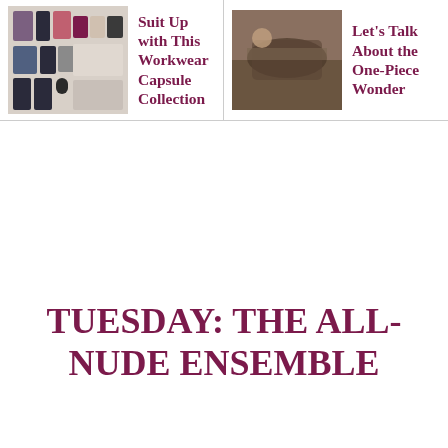[Figure (photo): Thumbnail image of workwear capsule collection clothing items]
Suit Up with This Workwear Capsule Collection
[Figure (photo): Thumbnail photo of a person in a one-piece outfit]
Let's Talk About the One-Piece Wonder
TUESDAY: THE ALL-NUDE ENSEMBLE